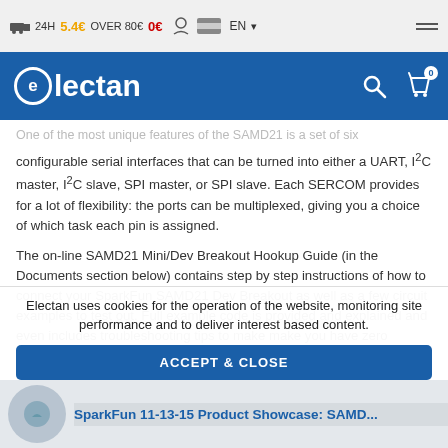24H 5.4€ OVER 80€ 0€ EN
[Figure (logo): Electan logo on blue navigation bar with search and cart icons]
One of the most unique features of the SAMD21 is a set of six configurable serial interfaces that can be turned into either a UART, I2C master, I2C slave, SPI master, or SPI slave. Each SERCOM provides for a lot of flexibility: the ports can be multiplexed, giving you a choice of which task each pin is assigned.
The on-line SAMD21 Mini/Dev Breakout Hookup Guide (in the Documents section below) contains step by step instructions of how to connect your SparkFun SAMD21 Dev Breakout as well as a few circuit examples to test out. Full example code is provided and explained and even includes troubleshooting tips to make make you have zero problems.
Note: The breakout does NOT have headers installed and will need to
Electan uses cookies for the operation of the website, monitoring site performance and to deliver interest based content.
ACCEPT & CLOSE
See privacy notice
SparkFun 11-13-15 Product Showcase: SAMD...